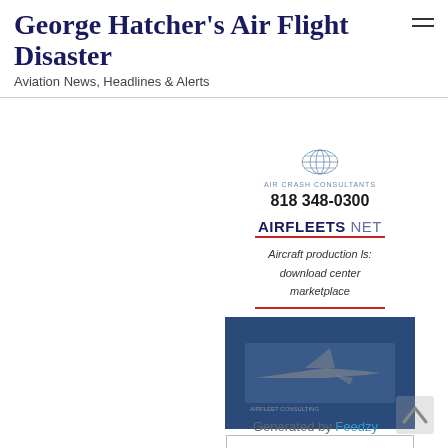George Hatcher's Air Flight Disaster
Aviation News, Headlines & Alerts
[Figure (logo): Air Crash Consultants logo with globe graphic]
818 348-0300
[Figure (logo): AIRFLEETS.NET logo with red underline]
Aircraft production ls:
download center
marketplace
[Figure (photo): Dark blue banner image with airplane silhouette]
[Figure (logo): AOPA logo with wings and shield emblem]
[Figure (logo): Blue box with white swirl/recycling-style logo]
Generated by Feedzy